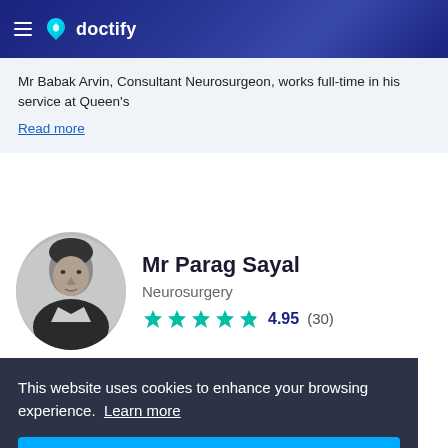doctify
Mr Babak Arvin, Consultant Neurosurgeon, works full-time in his service at Queen's
Read more
Mr Parag Sayal
Neurosurgery
4.95 (30)
This website uses cookies to enhance your browsing experience. Learn more
I agree!